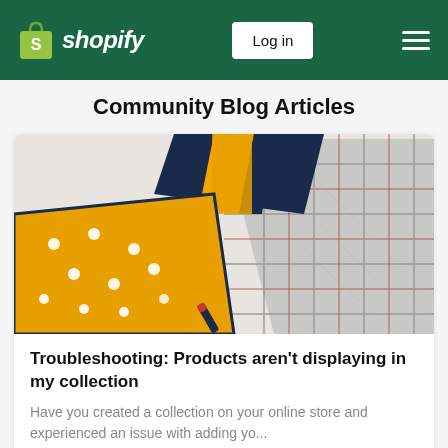Shopify — Log in
Community Blog Articles
[Figure (photo): Overhead photo of folded fabric accessories: a yellow polka-dot item, navy and yellow striped leather pieces, and a grey plaid folded textile on a white surface.]
Troubleshooting: Products aren't displaying in my collection
Have you created a collection on your online store and experienced an issue with adding yo...